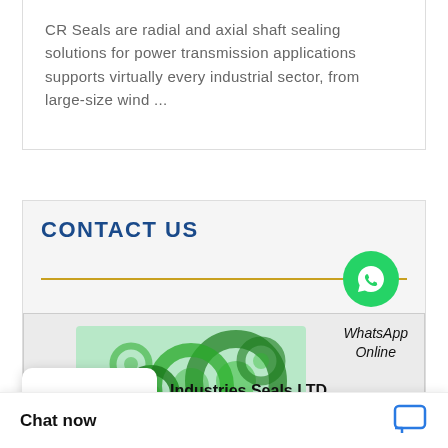CR Seals are radial and axial shaft sealing solutions for power transmission applications supports virtually every industrial sector, from large-size wind ...
CONTACT US
[Figure (illustration): Green abstract circular/ring shapes illustration used as company logo imagery for Industries Seals LTD]
WhatsApp Online
Industries Seals LTD
Chat now